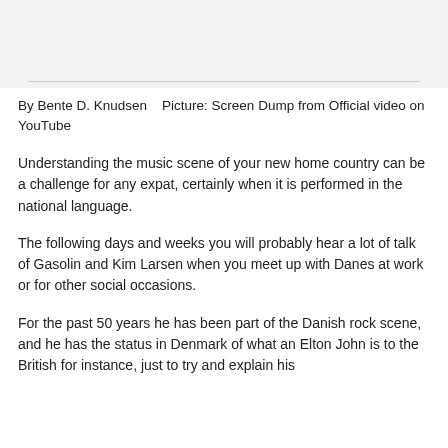[Figure (photo): Top portion of a webpage showing a banner or header image area with light gray background and a horizontal dividing line at the bottom]
By Bente D. Knudsen   Picture: Screen Dump from Official video on YouTube
Understanding the music scene of your new home country can be a challenge for any expat, certainly when it is performed in the national language.
The following days and weeks you will probably hear a lot of talk of Gasolin and Kim Larsen when you meet up with Danes at work or for other social occasions.
For the past 50 years he has been part of the Danish rock scene, and he has the status in Denmark of what an Elton John is to the British for instance, just to try and explain his